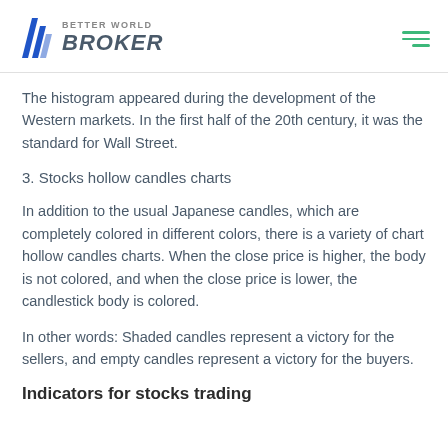Better World Broker
The histogram appeared during the development of the Western markets. In the first half of the 20th century, it was the standard for Wall Street.
3. Stocks hollow candles charts
In addition to the usual Japanese candles, which are completely colored in different colors, there is a variety of chart hollow candles charts. When the close price is higher, the body is not colored, and when the close price is lower, the candlestick body is colored.
In other words: Shaded candles represent a victory for the sellers, and empty candles represent a victory for the buyers.
Indicators for stocks trading